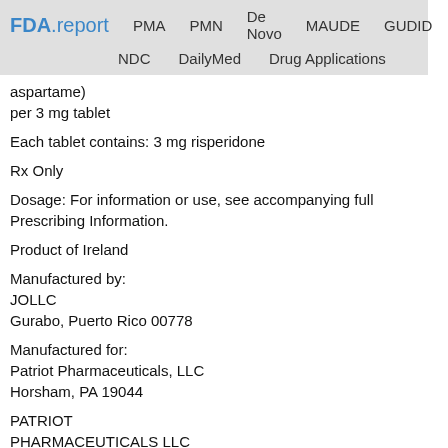FDA.report  PMA  PMN  De Novo  MAUDE  GUDID  NDC  DailyMed  Drug Applications
aspartame)
per 3 mg tablet
Each tablet contains: 3 mg risperidone
Rx Only
Dosage: For information or use, see accompanying full Prescribing Information.
Product of Ireland
Manufactured by:
JOLLC
Gurabo, Puerto Rico 00778
Manufactured for:
Patriot Pharmaceuticals, LLC
Horsham, PA 19044
PATRIOT
PHARMACEUTICALS LLC